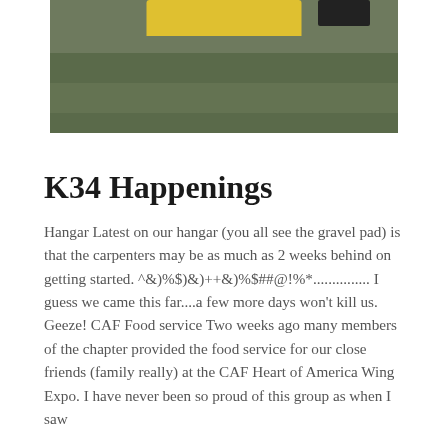[Figure (photo): Cropped photo showing a yellow object (possibly a surfboard or aircraft part) on grass, with a dark shoe/boot visible in the upper right corner.]
K34 Happenings
Hangar Latest on our hangar (you all see the gravel pad) is that the carpenters may be as much as 2 weeks behind on getting started. ^&)%$)&)++&)%$##@!%*............... I guess we came this far....a few more days won't kill us. Geeze! CAF Food service Two weeks ago many members of the chapter provided the food service for our close friends (family really) at the CAF Heart of America Wing Expo. I have never been so proud of this group as when I saw